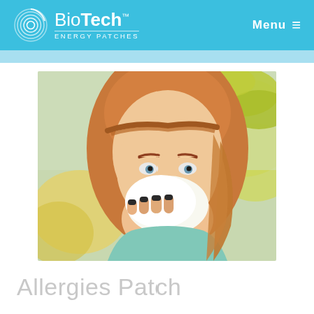BioTech™ ENERGY PATCHES | Menu ≡
[Figure (photo): A young woman with reddish-blonde braided hair blowing her nose into a tissue outdoors, with yellow flowers and green leaves in the background. She appears to be suffering from allergies.]
Allergies Patch